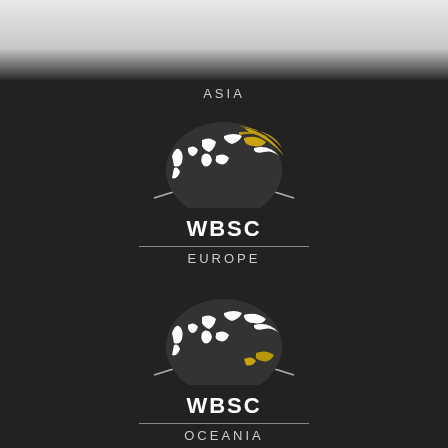[Figure (logo): WBSC Asia label visible at top of dark section]
ASIA
[Figure (logo): WBSC Europe logo: globe graphic with white and gold highlights, WBSC text, horizontal divider line, EUROPE label]
[Figure (logo): WBSC Oceania logo: globe graphic with white and gold highlights, WBSC text, horizontal divider line, OCEANIA label]